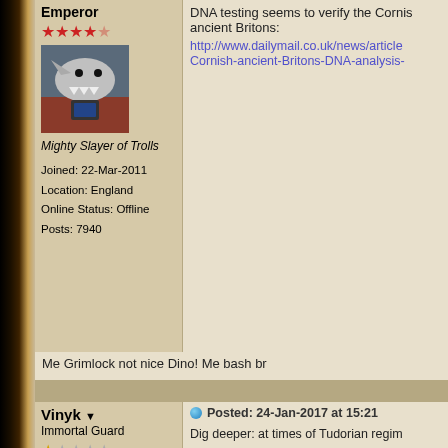Emperor
[Figure (photo): Avatar image of a shark or monster, partially obscured]
Mighty Slayer of Trolls
Joined: 22-Mar-2011
Location: England
Online Status: Offline
Posts: 7940
DNA testing seems to verify the Cornis... ancient Britons: http://www.dailymail.co.uk/news/article... Cornish-ancient-Britons-DNA-analysis-...
Me Grimlock not nice Dino! Me bash br...
Vinyk
Immortal Guard
Joined: 24-Jan-2017
Location: Shumsk, Ukraine
Online Status: Offline
Posts: 1
Posted: 24-Jan-2017 at 15:21
Dig deeper: at times of Tudorian regim... with Jews",  thus dispersed all over Eu... Jews", are "historically aware" when a... The Attic roots of "Cornwall Guard" we... Mediterranea: an Ancient tectonic disa... ancestors, during centuries, traveled to... accompanied Roman legions at fortific... The "sent with Jews" branch of Cornis... sacks, hydrometallurgy and aerial met... cementation and proof sorbtion).